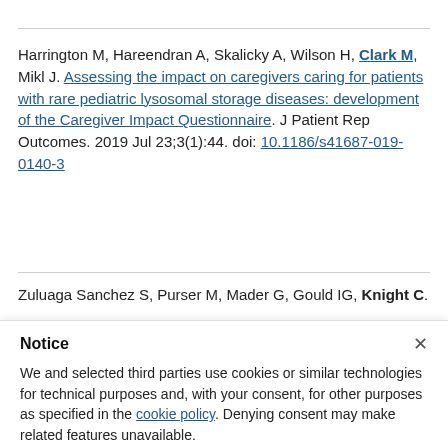Harrington M, Hareendran A, Skalicky A, Wilson H, Clark M, Mikl J. Assessing the impact on caregivers caring for patients with rare pediatric lysosomal storage diseases: development of the Caregiver Impact Questionnaire. J Patient Rep Outcomes. 2019 Jul 23;3(1):44. doi: 10.1186/s41687-019-0140-3
Zuluaga Sanchez S, Purser M, Mader G, Gould IG, Knight C.
Notice
We and selected third parties use cookies or similar technologies for technical purposes and, with your consent, for other purposes as specified in the cookie policy. Denying consent may make related features unavailable.
You can consent to the use of such technologies by closing this notice, by interacting with any link or button outside of this notice or by continuing to browse otherwise.